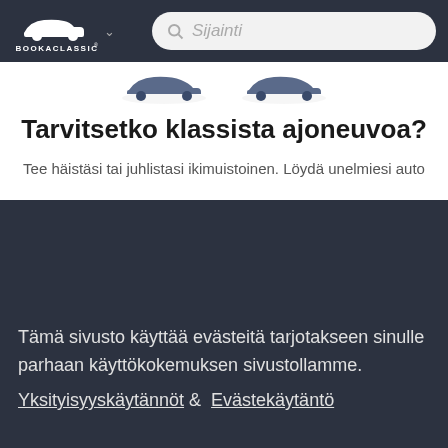[Figure (logo): BookAClassic logo - white car silhouette above text BOOKACLASSIC with registered trademark symbol, on dark background]
[Figure (screenshot): Search bar with magnifying glass icon and placeholder text 'Sijainti']
[Figure (illustration): Two classic car icons partially visible at top of white card]
Tarvitsetko klassista ajoneuvoa?
Tee häistäsi tai juhlistasi ikimuistoinen. Löydä unelmiesi auto
Tämä sivusto käyttää evästeitä tarjotakseen sinulle parhaan käyttökokemuksen sivustollamme.
Yksityisyyskäytännöt & Evästekäytäntö
Ymmärrän